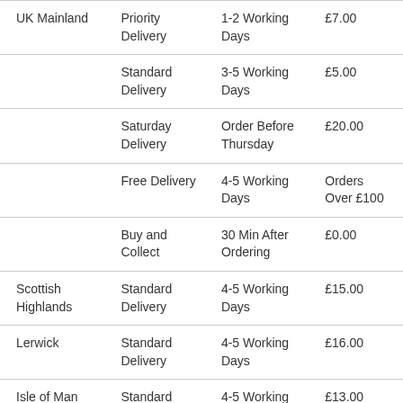| Region | Service | Timeframe | Cost |
| --- | --- | --- | --- |
| UK Mainland | Priority Delivery | 1-2 Working Days | £7.00 |
|  | Standard Delivery | 3-5 Working Days | £5.00 |
|  | Saturday Delivery | Order Before Thursday | £20.00 |
|  | Free Delivery | 4-5 Working Days | Orders Over £100 |
|  | Buy and Collect | 30 Min After Ordering | £0.00 |
| Scottish Highlands | Standard Delivery | 4-5 Working Days | £15.00 |
| Lerwick | Standard Delivery | 4-5 Working Days | £16.00 |
| Isle of Man | Standard Delivery | 4-5 Working Days | £13.00 |